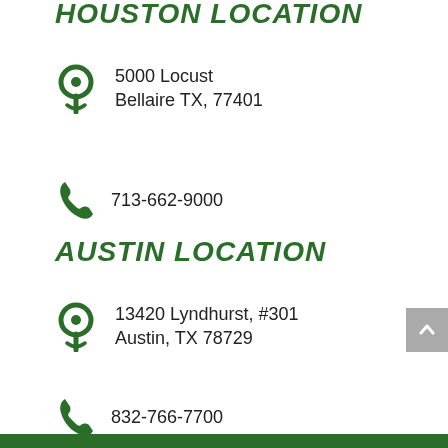HOUSTON LOCATION
5000 Locust
Bellaire TX, 77401
713-662-9000
AUSTIN LOCATION
13420 Lyndhurst, #301
Austin, TX 78729
832-766-7700